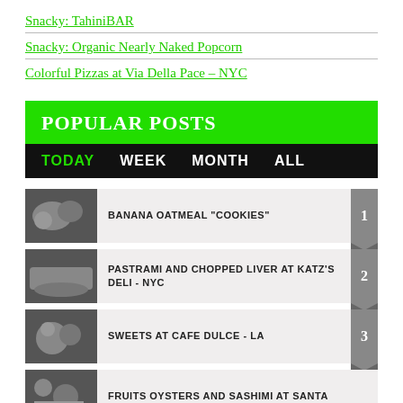Snacky: TahiniBAR
Snacky: Organic Nearly Naked Popcorn
Colorful Pizzas at Via Della Pace – NYC
POPULAR POSTS
TODAY  WEEK  MONTH  ALL
BANANA OATMEAL "COOKIES"  1
PASTRAMI AND CHOPPED LIVER AT KATZ'S DELI - NYC  2
SWEETS AT CAFE DULCE - LA  3
FRUITS OYSTERS AND SASHIMI AT SANTA